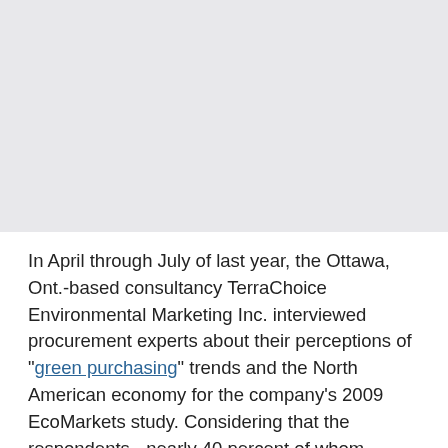[Figure (other): Gray placeholder image area occupying the top portion of the page]
In April through July of last year, the Ottawa, Ont.-based consultancy TerraChoice Environmental Marketing Inc. interviewed procurement experts about their perceptions of "green purchasing" trends and the North American economy for the company's 2009 EcoMarkets study. Considering that the respondents - nearly 40 percent of whom